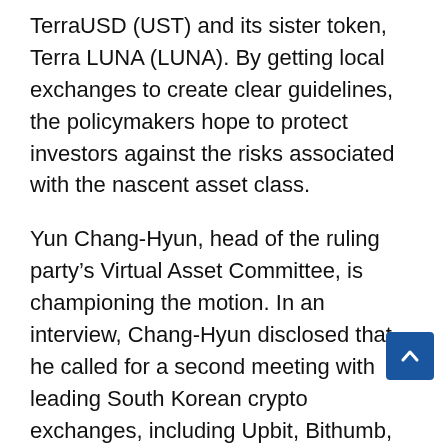TerraUSD (UST) and its sister token, Terra LUNA (LUNA). By getting local exchanges to create clear guidelines, the policymakers hope to protect investors against the risks associated with the nascent asset class.
Yun Chang-Hyun, head of the ruling party’s Virtual Asset Committee, is championing the motion. In an interview, Chang-Hyun disclosed that he called for a second meeting with leading South Korean crypto exchanges, including Upbit, Bithumb, Coinone, Korbit, and Gopax. The meeting is scheduled for the week of June 13.
Per Chang-Hyun, the meeting’s goal is to get the exchanges to sign off on a draft of the non-binding guidelines. Once crypto exchanges reach a consensus, South Korea will implement a self-